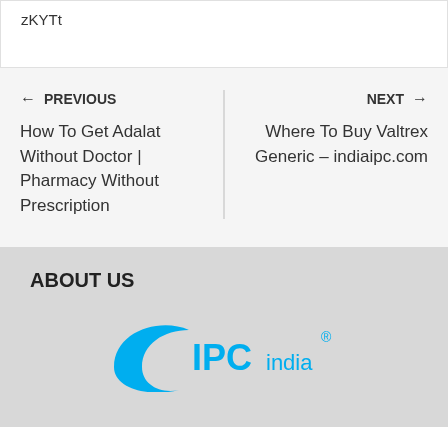zKYTt
← PREVIOUS
How To Get Adalat Without Doctor | Pharmacy Without Prescription
NEXT →
Where To Buy Valtrex Generic – indiaipc.com
ABOUT US
[Figure (logo): IPC India logo — blue crescent shape with 'IPC india' text and registered trademark symbol]